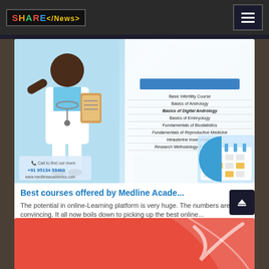SHARE</News> [navigation header with logo and hamburger menu]
[Figure (illustration): Medline Academics promotional image showing a doctor in white coat holding a clipboard, with a course list panel on the right showing medical courses including Basic Infertility Course, Basics of Andrology, Basics of Digital Andrology, Basics of Embryology, Fundamentals of Biostatistics, Fundamentals of Reproductive Medicine, Intrauterine Insemination, Research Methodology & Biostatistics. Contact info: +91 95134 53460, www.medlineacademics.com]
Best courses offered by Medline Acade...
The potential in online-Learning platform is very huge. The numbers are convincing. It all now boils down to picking up the best online...
♥ 0   👁 253
[Figure (illustration): Partial view of another article card with orange/red background, partially visible at bottom of page]